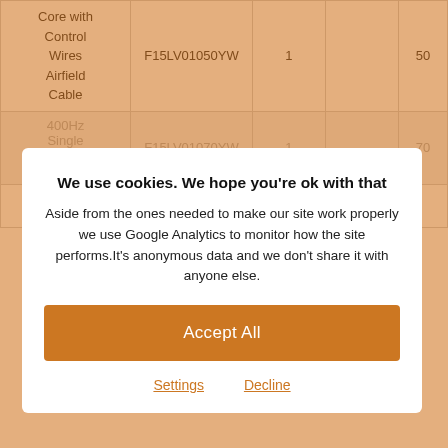|  |  |  |  |  |
| --- | --- | --- | --- | --- |
| Core with Control Wires Airfield Cable | F15LV01050YW | 1 |  | 50 |
| 400Hz Single Core with Control | F15LV01070YW | 1 |  | 70 |
| Cable |  |  |  |  |
We use cookies. We hope you're ok with that
Aside from the ones needed to make our site work properly we use Google Analytics to monitor how the site performs.It's anonymous data and we don't share it with anyone else.
Accept All
Settings  Decline